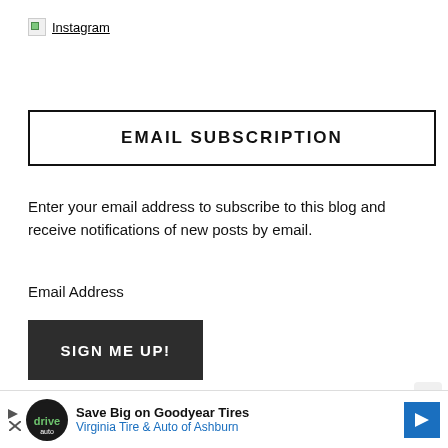[Figure (logo): Broken image icon followed by 'Instagram' link text, underlined]
EMAIL SUBSCRIPTION
Enter your email address to subscribe to this blog and receive notifications of new posts by email.
Email Address
[Figure (other): Dark button with white bold text reading 'SIGN ME UP!']
Join 17,333 other subscribers
[Figure (other): Advertisement banner: Save Big on Goodyear Tires - Virginia Tire & Auto of Ashburn]